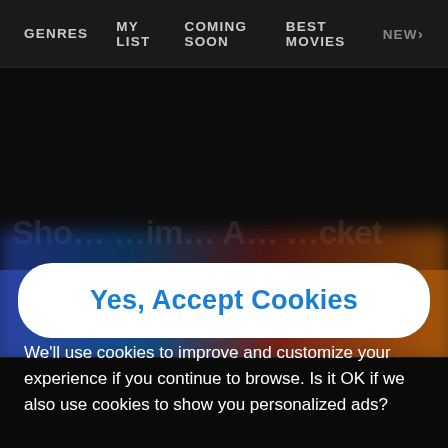GENRES   MY LIST   COMING SOON   BEST MOVIES   NEW›
[Figure (screenshot): Dark streaming website background with colorful gradient glow (blue, red, orange) and faint background text]
We'll use cookies to improve and customize your experience if you continue to browse. Is it OK if we also use cookies to show you personalized ads?
Yes, Accept Cookies